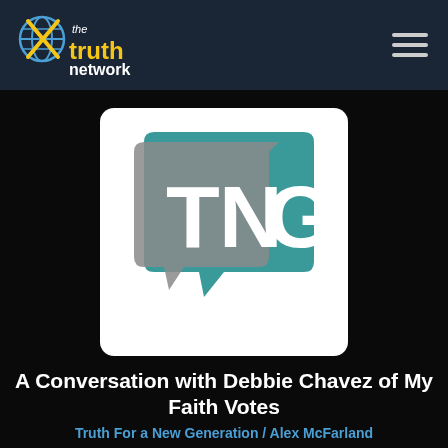the truth network
[Figure (logo): TNG speech bubble logo with letters T, N, G in teal and gray on white rounded square background]
A Conversation with Debbie Chavez of My Faith Votes
Truth For a New Generation / Alex McFarland